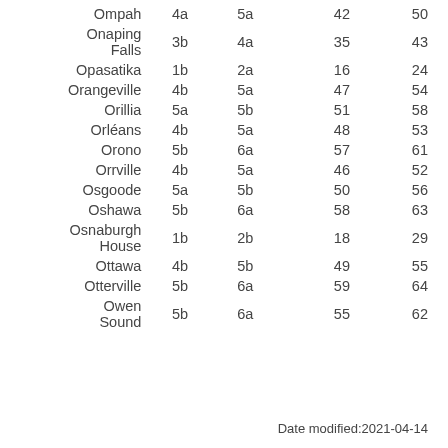| Ompah | 4a | 5a | 42 | 50 |
| Onaping Falls | 3b | 4a | 35 | 43 |
| Opasatika | 1b | 2a | 16 | 24 |
| Orangeville | 4b | 5a | 47 | 54 |
| Orillia | 5a | 5b | 51 | 58 |
| Orléans | 4b | 5a | 48 | 53 |
| Orono | 5b | 6a | 57 | 61 |
| Orrville | 4b | 5a | 46 | 52 |
| Osgoode | 5a | 5b | 50 | 56 |
| Oshawa | 5b | 6a | 58 | 63 |
| Osnaburgh House | 1b | 2b | 18 | 29 |
| Ottawa | 4b | 5b | 49 | 55 |
| Otterville | 5b | 6a | 59 | 64 |
| Owen Sound | 5b | 6a | 55 | 62 |
Date modified:2021-04-14